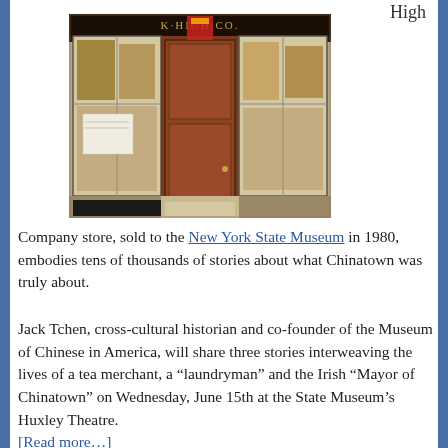High
[Figure (photo): Storefront of a Chinatown company store with a dark red wooden door, glass display windows showing merchandise, and signage reading K. HIGH CO.]
Company store, sold to the New York State Museum in 1980, embodies tens of thousands of stories about what Chinatown was truly about.
Jack Tchen, cross-cultural historian and co-founder of the Museum of Chinese in America, will share three stories interweaving the lives of a tea merchant, a “laundryman” and the Irish “Mayor of Chinatown” on Wednesday, June 15th at the State Museum’s Huxley Theatre. [Read more…]